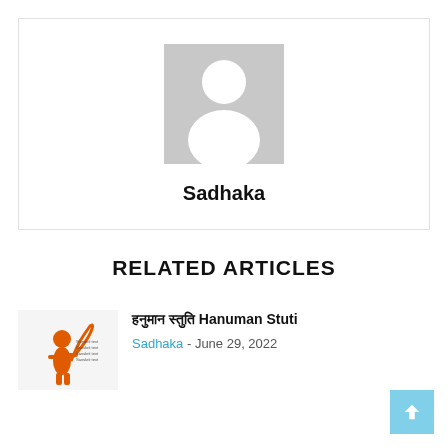[Figure (photo): Gray placeholder avatar silhouette image]
Sadhaka
RELATED ARTICLES
[Figure (illustration): Orange Hanuman illustration with Sanskrit text]
हनुमान स्तुति Hanuman Stuti
Sadhaka - June 29, 2022